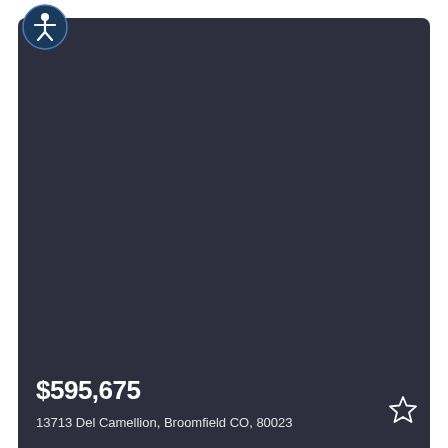[Figure (screenshot): Dark navy/charcoal property listing card with an accessibility icon in the upper left corner, a large dark image area, a price of $595,675 at the bottom left, a partial address below the price, and a star/favorite icon at the bottom right.]
$595,675
13713 Del Camellion, Broomfield CO, 80023